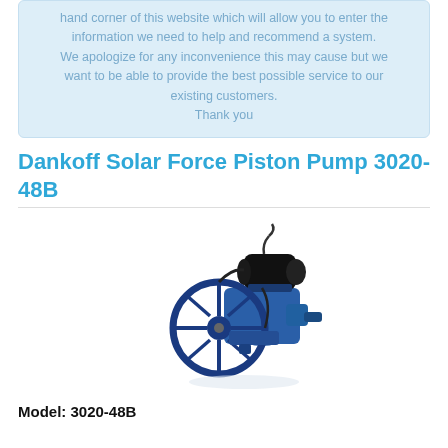hand corner of this website which will allow you to enter the information we need to help and recommend a system. We apologize for any inconvenience this may cause but we want to be able to provide the best possible service to our existing customers. Thank you
Dankoff Solar Force Piston Pump 3020-48B
[Figure (photo): Blue Dankoff Solar Force Piston Pump model 3020-48B with a large flywheel/pulley wheel on the left side and a black electric motor on top.]
Model: 3020-48B